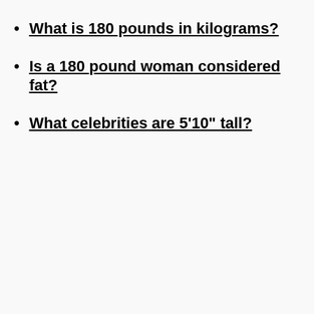What is 180 pounds in kilograms?
Is a 180 pound woman considered fat?
What celebrities are 5'10" tall?